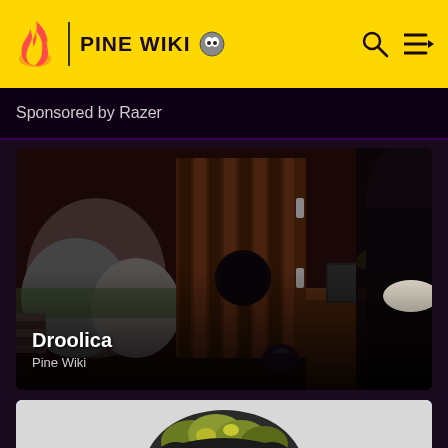PINE WIKI
Sponsored by Razer
[Figure (screenshot): Game screenshot showing a wooden desk/counter scene with stones and a dark cloaked figure, labeled Droolica from Pine Wiki]
Droolica
Pine Wiki
[Figure (screenshot): Partially visible game screenshot showing a creature or character with green/yellow mossy texture on a light gray background]